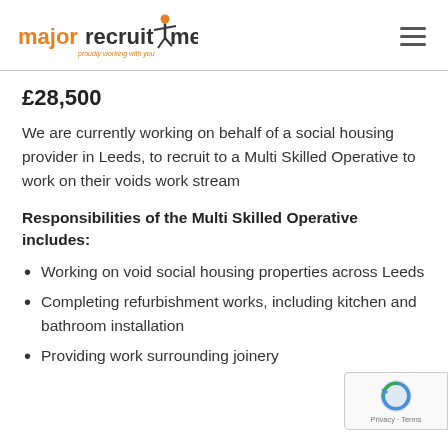major recruitment - proudly working with you
£28,500
We are currently working on behalf of a social housing provider in Leeds, to recruit to a Multi Skilled Operative to work on their voids work stream
Responsibilities of the Multi Skilled Operative includes:
Working on void social housing properties across Leeds
Completing refurbishment works, including kitchen and bathroom installation
Providing work surrounding joinery